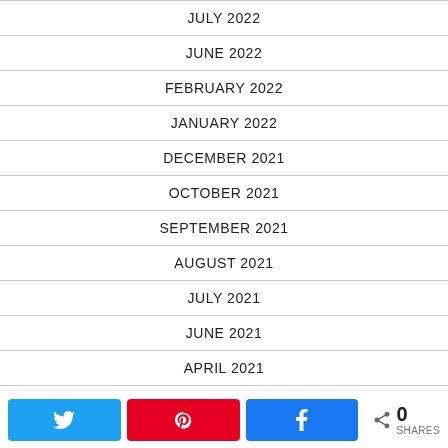JULY 2022
JUNE 2022
FEBRUARY 2022
JANUARY 2022
DECEMBER 2021
OCTOBER 2021
SEPTEMBER 2021
AUGUST 2021
JULY 2021
JUNE 2021
APRIL 2021
MARCH 2021
FEBRUARY 2021
Twitter | Pinterest | Facebook | 0 SHARES